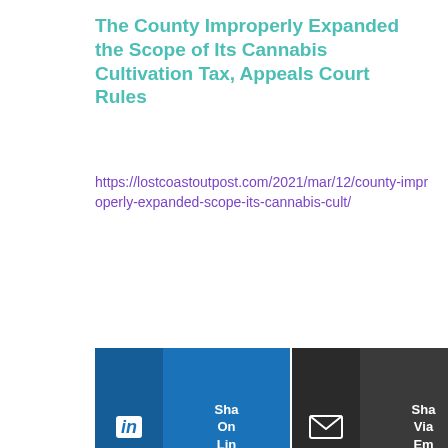The County Improperly Expanded the Scope of Its Cannabis Cultivation Tax, Appeals Court Rules
https://lostcoastoutpost.com/2021/mar/12/county-improperly-expanded-scope-its-cannabis-cult/
[Figure (other): Two share buttons: 'Share On LinkedIn' (blue, with LinkedIn icon) and 'Share Via Email' (dark, with envelope icon), partially cropped at the right edge.]
[Figure (logo): Partial view of the County of Humboldt official seal, showing a circular seal with text 'COUNTY OF HUMBOLDT' and a central landscape scene with trees.]